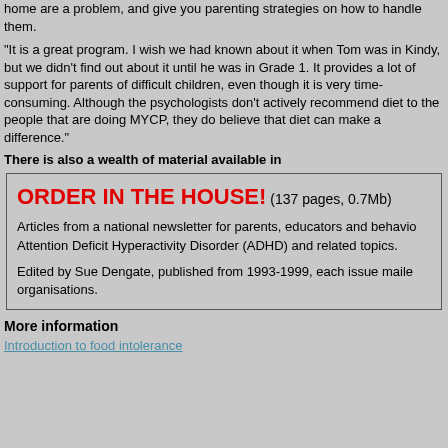home are a problem, and give you parenting strategies on how to handle them.
"It is a great program. I wish we had known about it when Tom was in Kindy, but we didn't find out about it until he was in Grade 1. It provides a lot of support for parents of difficult children, even though it is very time-consuming. Although the psychologists don't actively recommend diet to the people that are doing MYCP, they do believe that diet can make a difference."
There is also a wealth of material available in
ORDER IN THE HOUSE! (137 pages, 0.7Mb)
Articles from a national newsletter for parents, educators and behavioural professionals covering Attention Deficit Hyperactivity Disorder (ADHD) and related topics.
Edited by Sue Dengate, published from 1993-1999, each issue mailed to schools, libraries and relevant organisations.
More information
Introduction to food intolerance